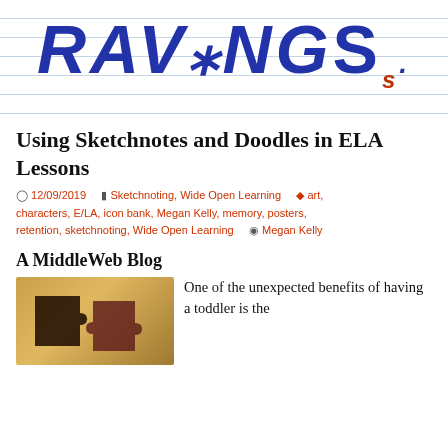[Figure (photo): Sketchnote-style hand-drawn letters on lined paper background reading 'RAVINGS' or similar, in dark blue ink with a star symbol, on white ruled notebook paper]
Using Sketchnotes and Doodles in ELA Lessons
12/09/2019   Sketchnoting, Wide Open Learning   art, characters, E/LA, icon bank, Megan Kelly, memory, posters, retention, sketchnoting, Wide Open Learning   Megan Kelly
A MiddleWeb Blog
[Figure (photo): Two puzzle pieces in silhouette against a warm golden/amber background, appearing to connect or interlock]
One of the unexpected benefits of having a toddler is the